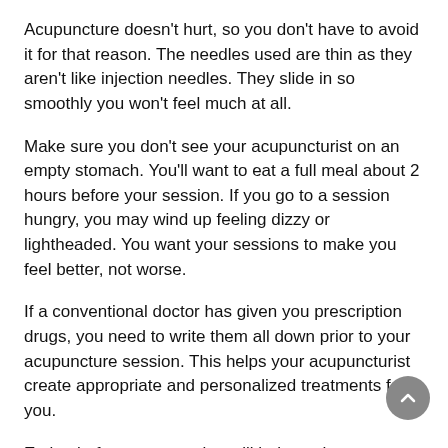Acupuncture doesn't hurt, so you don't have to avoid it for that reason. The needles used are thin as they aren't like injection needles. They slide in so smoothly you won't feel much at all.
Make sure you don't see your acupuncturist on an empty stomach. You'll want to eat a full meal about 2 hours before your session. If you go to a session hungry, you may wind up feeling dizzy or lightheaded. You want your sessions to make you feel better, not worse.
If a conventional doctor has given you prescription drugs, you need to write them all down prior to your acupuncture session. This helps your acupuncturist create appropriate and personalized treatments for you.
Eating before your session will help so that you are not distracted by hunger. The session is about clearing the mind so that your body can relax and repair. This is difficult to do if you are distracted by outside concerns